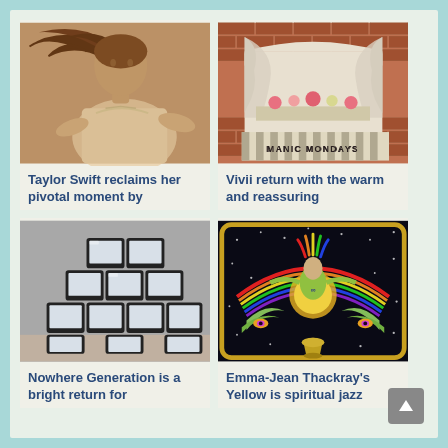[Figure (photo): Sepia-toned photo of Taylor Swift with windswept hair, wearing a white blouse]
Taylor Swift reclaims her pivotal moment by
[Figure (photo): Photo of a brick building window with flowing curtains draped open, flowers on the windowsill, with 'Manic Mondays' text visible below]
Vivii return with the warm and reassuring
[Figure (photo): Black and white photo of stacked television monitors arranged in a pyramid/grid pattern]
Nowhere Generation is a bright return for
[Figure (illustration): Colorful psychedelic album art showing a figure under a rainbow on black background with stars, birds, a chalice — Emma-Jean Thackray Yellow artwork]
Emma-Jean Thackray's Yellow is spiritual jazz